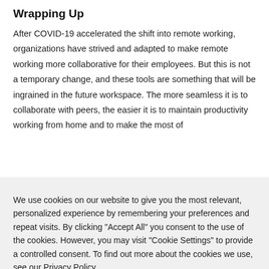Wrapping Up
After COVID-19 accelerated the shift into remote working, organizations have strived and adapted to make remote working more collaborative for their employees. But this is not a temporary change, and these tools are something that will be ingrained in the future workspace. The more seamless it is to collaborate with peers, the easier it is to maintain productivity working from home and to make the most of
We use cookies on our website to give you the most relevant, personalized experience by remembering your preferences and repeat visits. By clicking "Accept All" you consent to the use of the cookies. However, you may visit "Cookie Settings" to provide a controlled consent. To find out more about the cookies we use, see our Privacy Policy.
Cookie Settings | Accept All